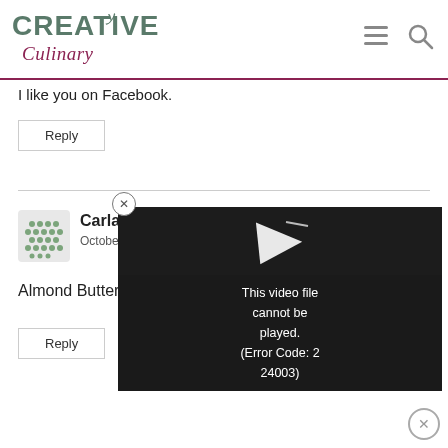Creative Culinary
I like you on Facebook.
Reply
Carla says: October 27
Almond Butter.
Reply
[Figure (screenshot): Video player overlay showing a play button and error message: 'This video file cannot be played. (Error Code: 2 24003)' on a dark/black background.]